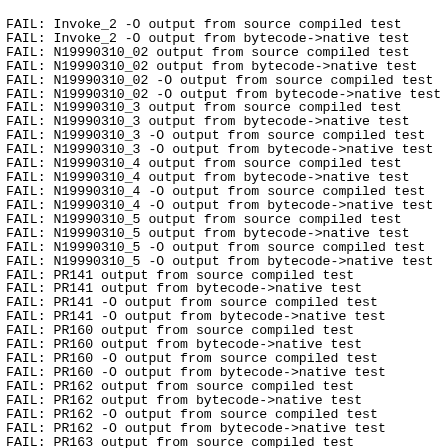FAIL: Invoke_2 -O output from source compiled test
FAIL: Invoke_2 -O output from bytecode->native test
FAIL: N19990310_02 output from source compiled test
FAIL: N19990310_02 output from bytecode->native test
FAIL: N19990310_02 -O output from source compiled test
FAIL: N19990310_02 -O output from bytecode->native test
FAIL: N19990310_3 output from source compiled test
FAIL: N19990310_3 output from bytecode->native test
FAIL: N19990310_3 -O output from source compiled test
FAIL: N19990310_3 -O output from bytecode->native test
FAIL: N19990310_4 output from source compiled test
FAIL: N19990310_4 output from bytecode->native test
FAIL: N19990310_4 -O output from source compiled test
FAIL: N19990310_4 -O output from bytecode->native test
FAIL: N19990310_5 output from source compiled test
FAIL: N19990310_5 output from bytecode->native test
FAIL: N19990310_5 -O output from source compiled test
FAIL: N19990310_5 -O output from bytecode->native test
FAIL: PR141 output from source compiled test
FAIL: PR141 output from bytecode->native test
FAIL: PR141 -O output from source compiled test
FAIL: PR141 -O output from bytecode->native test
FAIL: PR160 output from source compiled test
FAIL: PR160 output from bytecode->native test
FAIL: PR160 -O output from source compiled test
FAIL: PR160 -O output from bytecode->native test
FAIL: PR162 output from source compiled test
FAIL: PR162 output from bytecode->native test
FAIL: PR162 -O output from source compiled test
FAIL: PR162 -O output from bytecode->native test
FAIL: PR163 output from source compiled test